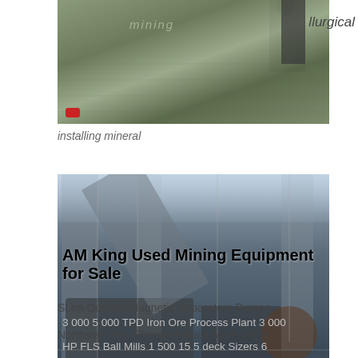[Figure (photo): Outdoor photo of a person standing near mining or metallurgical equipment on a dirt ground with grass in background]
llurgical
installing mineral
[Figure (photo): Industrial mining processing plant with heavy machinery including ball mills, crushers, conveyor systems, and structural steel framework]
AM King Used Mining Equipment for Sale
3 000 5 000 TPD Iron Ore Process Plant 3 000 HP FLS Ball Mills 1 500 15 5 deck Sizers 6 SLon Outotec Magnetic Separators Pumps
Northstar Disc Filter and Much More VIEW